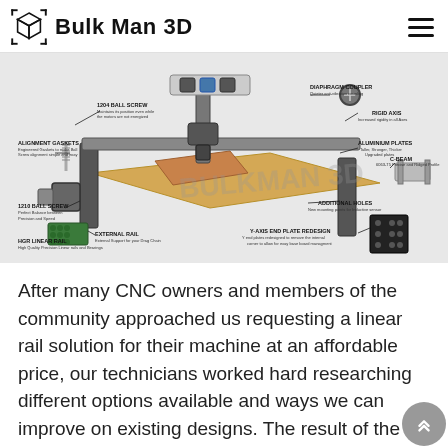Bulk Man 3D
[Figure (engineering-diagram): Annotated diagram of a CNC machine (Bulk Man 3D) with labeled components: 1204 Ball Screw, Diaphragm Coupler, Rigid Axis, Alignment Gaskets, Aluminium Plates, 1210 Ball Screw, C-Beam, HGR Linear Rail, External Rail, Additional Holes, Y-Axis End Plate Redesign]
After many CNC owners and members of the community approached us requesting a linear rail solution for their machine at an affordable price, our technicians worked hard researching different options available and ways we can improve on existing designs. The result of the